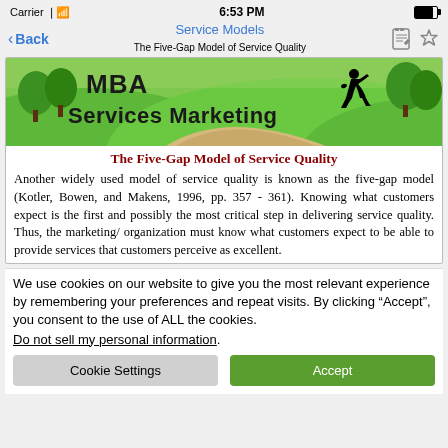Carrier  6:53 PM  [battery icon]
Back  Service Models  The Five-Gap Model of Service Quality
[Figure (illustration): MBA Services Marketing banner with green hills landscape background and silhouette of a running businessperson carrying a briefcase]
The Five-Gap Model of Service Quality
Another widely used model of service quality is known as the five-gap model (Kotler, Bowen, and Makens, 1996, pp. 357 - 361).  Knowing what customers expect is the first and possibly the most critical step in delivering service quality.  Thus, the marketing/ organization must know what customers expect to be able to provide services that customers perceive as excellent.
We use cookies on our website to give you the most relevant experience by remembering your preferences and repeat visits. By clicking “Accept”, you consent to the use of ALL the cookies.
Do not sell my personal information.